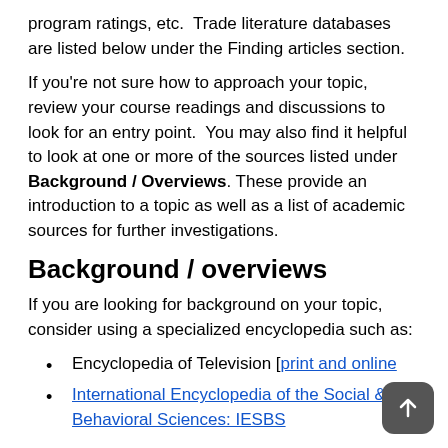program ratings, etc.  Trade literature databases are listed below under the Finding articles section.
If you're not sure how to approach your topic, review your course readings and discussions to look for an entry point.  You may also find it helpful to look at one or more of the sources listed under Background / Overviews. These provide an introduction to a topic as well as a list of academic sources for further investigations.
Background / overviews
If you are looking for background on your topic, consider using a specialized encyclopedia such as:
Encyclopedia of Television [print and online
International Encyclopedia of the Social & Behavioral Sciences: IESBS